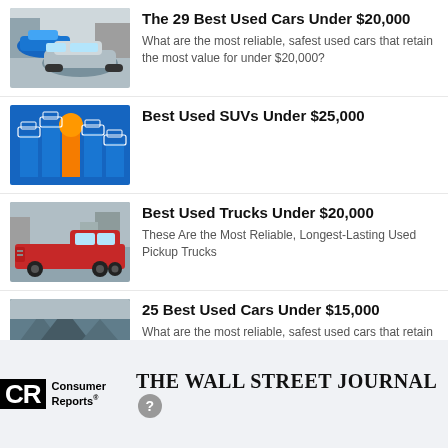[Figure (photo): Photo of used cars, Honda Civic type, silver car in front with blue car behind, urban background]
The 29 Best Used Cars Under $20,000
What are the most reliable, safest used cars that retain the most value for under $20,000?
[Figure (illustration): Illustrated graphic with blue background, orange bar in center, car icons in white outline style]
Best Used SUVs Under $25,000
[Figure (photo): Photo of a red GMC pickup truck, parked outdoors]
Best Used Trucks Under $20,000
These Are the Most Reliable, Longest-Lasting Used Pickup Trucks
[Figure (photo): Photo of a white Honda Civic, parked with mountains in background]
25 Best Used Cars Under $15,000
What are the most reliable, safest used cars that retain the most value for under $15,000?
CR Consumer Reports | THE WALL STREET JOURNAL